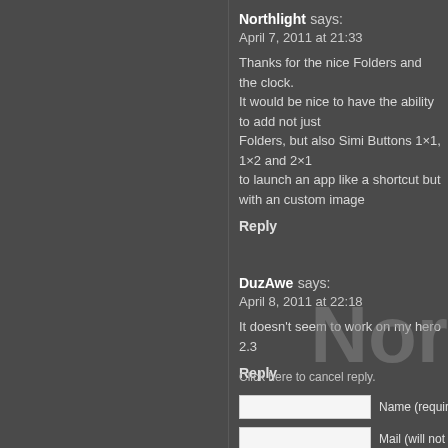Northlight says:
April 7, 2011 at 21:33
Thanks for the nice Folders and the clock. It would be nice to have the ability to add not just Folders, but also Simi Buttons 1×1, 1×2 and 2×1 to launch an app like a shortcut but with an custom image
Reply
DuzAwe says:
April 8, 2011 at 22:18
It doesn't seem to work on my hero 2.3
Reply
Nor
Click here to cancel reply.
Name (required)
Mail (will not be published)
Website